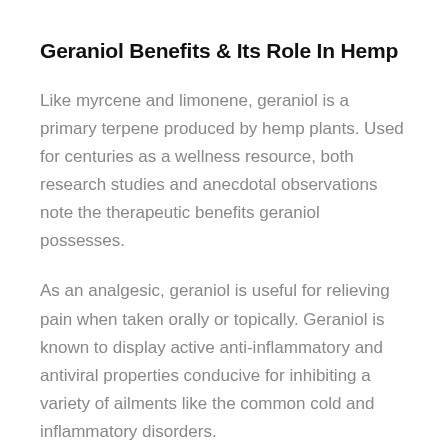Geraniol Benefits & Its Role In Hemp
Like myrcene and limonene, geraniol is a primary terpene produced by hemp plants. Used for centuries as a wellness resource, both research studies and anecdotal observations note the therapeutic benefits geraniol possesses.
As an analgesic, geraniol is useful for relieving pain when taken orally or topically. Geraniol is known to display active anti-inflammatory and antiviral properties conducive for inhibiting a variety of ailments like the common cold and inflammatory disorders.
It has also been researched that geraniol works well as a neuroprotectant. Published by the Journal of Neuroscience